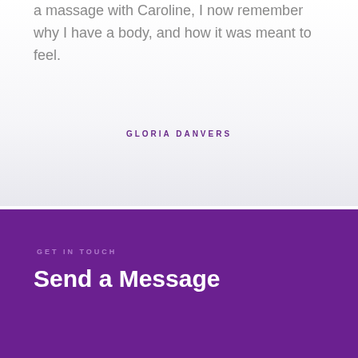a massage with Caroline, I now remember why I have a body, and how it was meant to feel.
GLORIA DANVERS
GET IN TOUCH
Send a Message